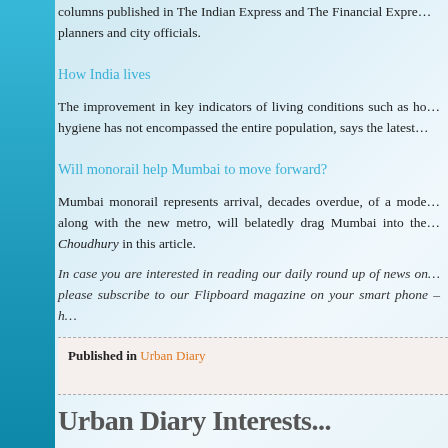columns published in The Indian Express and The Financial Expre... planners and city officials.
How India lives
The improvement in key indicators of living conditions such as ho... hygiene has not encompassed the entire population, says the latest...
Will monorail help Mumbai to move forward?
Mumbai monorail represents arrival, decades overdue, of a mode... along with the new metro, will belatedly drag Mumbai into the... Choudhury in this article.
In case you are interested in reading our daily round up of news on... please subscribe to our Flipboard magazine on your smart phone – h...
Published in Urban Diary
Urban Diary Interests...